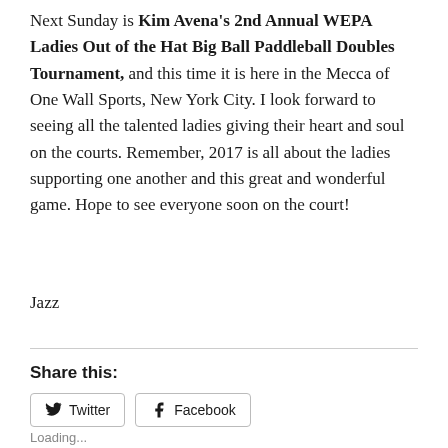Next Sunday is Kim Avena's 2nd Annual WEPA Ladies Out of the Hat Big Ball Paddleball Doubles Tournament, and this time it is here in the Mecca of One Wall Sports, New York City. I look forward to seeing all the talented ladies giving their heart and soul on the courts. Remember, 2017 is all about the ladies supporting one another and this great and wonderful game. Hope to see everyone soon on the court!
Jazz
Share this:
[Figure (other): Social share buttons for Twitter and Facebook]
Loading...